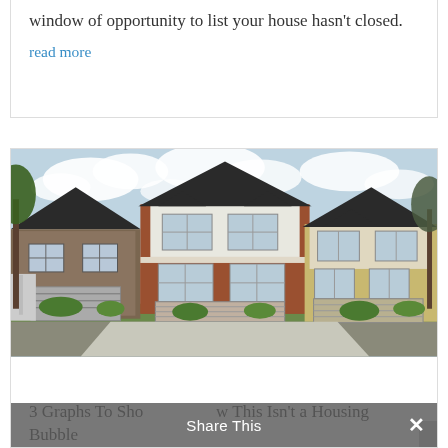window of opportunity to list your house hasn't closed.
read more
[Figure (photo): Photograph of three craftsman-style residential houses side by side on a cul-de-sac street, with a partly cloudy sky in the background. The houses feature cedar shingle siding in brown and tan colors with white trim and attached garages.]
3 Graphs To Show This Isn't a Housing Bubble